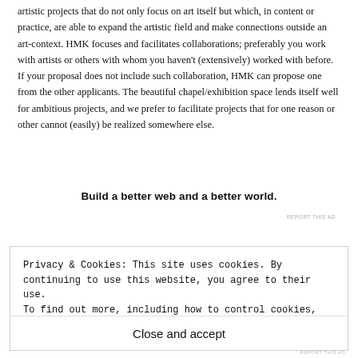artistic projects that do not only focus on art itself but which, in content or practice, are able to expand the artistic field and make connections outside an art-context. HMK focuses and facilitates collaborations; preferably you work with artists or others with whom you haven't (extensively) worked with before. If your proposal does not include such collaboration, HMK can propose one from the other applicants. The beautiful chapel/exhibition space lends itself well for ambitious projects, and we prefer to facilitate projects that for one reason or other cannot (easily) be realized somewhere else.
Build a better web and a better world.
REPORT THIS AD
Privacy & Cookies: This site uses cookies. By continuing to use this website, you agree to their use.
To find out more, including how to control cookies, see here: Cookie Policy
Close and accept
REPORT THIS AD